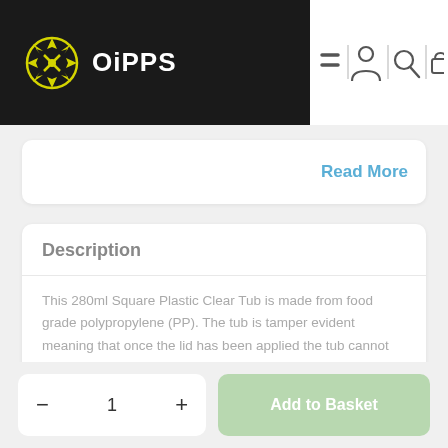OiPPS
Read More
Description
This 280ml Square Plastic Clear Tub is made from food grade polypropylene (PP). The tub is tamper evident meaning that once the lid has been applied the tub cannot be opened without first breaking a plastic tab seal. This makes them ideal for storing foodstuffs where it is essential for the contents to get to customers without being
1
Add to Basket